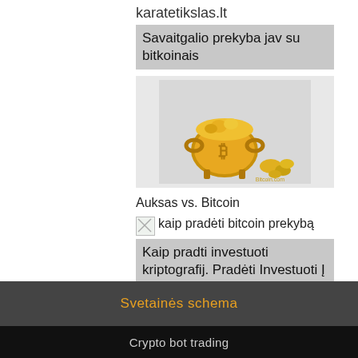karatetikslas.lt
Savaitgalio prekyba jav su bitkoinais
[Figure (photo): Gold pot/cauldron filled with bitcoin coins, styled as a treasure pot with Bitcoin symbol on the front, silver coins spilling out beside it. Bitcoin.com watermark visible.]
Auksas vs. Bitcoin
[Figure (illustration): Small broken image icon placeholder for 'kaip pradėti bitcoin prekybą']
kaip pradėti bitcoin prekybą
Kaip pradti investuoti kriptografij. Pradėti Investuoti Į Kriptografiją
Svetainės schema
Crypto bot trading